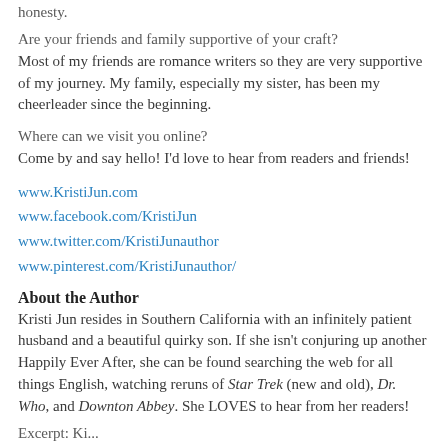honesty.
Are your friends and family supportive of your craft?
Most of my friends are romance writers so they are very supportive of my journey. My family, especially my sister, has been my cheerleader since the beginning.
Where can we visit you online?
Come by and say hello! I'd love to hear from readers and friends!
www.KristiJun.com
www.facebook.com/KristiJun
www.twitter.com/KristiJunauthor
www.pinterest.com/KristiJunauthor/
About the Author
Kristi Jun resides in Southern California with an infinitely patient husband and a beautiful quirky son. If she isn't conjuring up another Happily Ever After, she can be found searching the web for all things English, watching reruns of Star Trek (new and old), Dr. Who, and Downton Abbey. She LOVES to hear from her readers!
Excerpt: Ki...